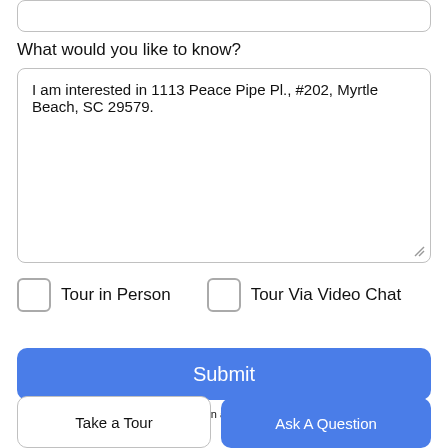What would you like to know?
I am interested in 1113 Peace Pipe Pl., #202, Myrtle Beach, SC 29579.
Tour in Person
Tour Via Video Chat
Submit
Disclaimer: By entering your information and submitting this form, you agree
Take a Tour
Ask A Question